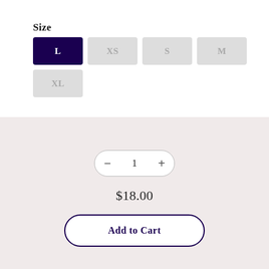Size
L (selected), XS, S, M, XL
1
$18.00
Add to Cart
[Figure (infographic): Social media share icons: Facebook, Twitter, Pinterest]